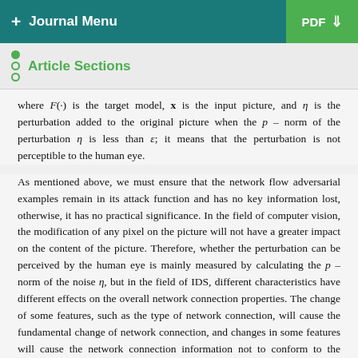+ Journal Menu   PDF ↓
Article Sections
where F(·) is the target model, x is the input picture, and η is the perturbation added to the original picture when the p – norm of the perturbation η is less than ε; it means that the perturbation is not perceptible to the human eye.
As mentioned above, we must ensure that the network flow adversarial examples remain in its attack function and has no key information lost, otherwise, it has no practical significance. In the field of computer vision, the modification of any pixel on the picture will not have a greater impact on the content of the picture. Therefore, whether the perturbation can be perceived by the human eye is mainly measured by calculating the p – norm of the noise η, but in the field of IDS, different characteristics have different effects on the overall network connection properties. The change of some features, such as the type of network connection, will cause the fundamental change of network connection, and changes in some features will cause the network connection information not to conform to the physical